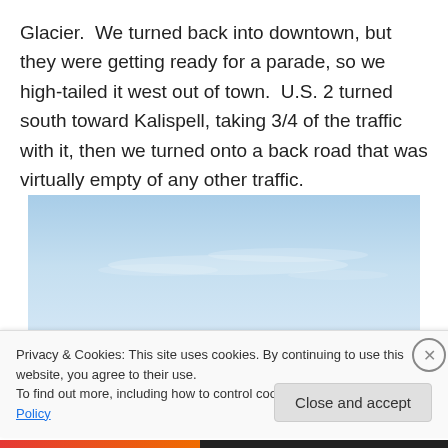Glacier.  We turned back into downtown, but they were getting ready for a parade, so we high-tailed it west out of town.  U.S. 2 turned south toward Kalispell, taking 3/4 of the traffic with it, then we turned onto a back road that was virtually empty of any other traffic.
[Figure (photo): A photograph showing a wide blue sky with faint wispy clouds, taken outdoors near Glacier/Kalispell area.]
Privacy & Cookies: This site uses cookies. By continuing to use this website, you agree to their use.
To find out more, including how to control cookies, see here: Cookie Policy